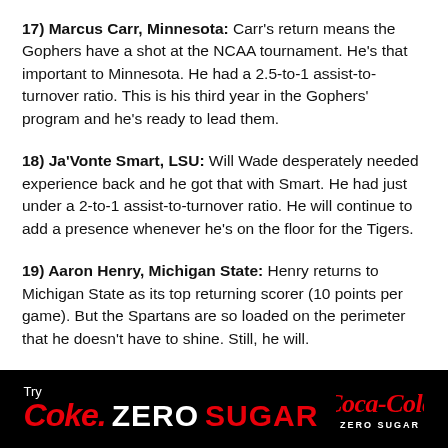17) Marcus Carr, Minnesota: Carr's return means the Gophers have a shot at the NCAA tournament. He's that important to Minnesota. He had a 2.5-to-1 assist-to-turnover ratio. This is his third year in the Gophers' program and he's ready to lead them.
18) Ja'Vonte Smart, LSU: Will Wade desperately needed experience back and he got that with Smart. He had just under a 2-to-1 assist-to-turnover ratio. He will continue to add a presence whenever he's on the floor for the Tigers.
19) Aaron Henry, Michigan State: Henry returns to Michigan State as its top returning scorer (10 points per game). But the Spartans are so loaded on the perimeter that he doesn't have to shine. Still, he will.
[Figure (logo): Coca-Cola Zero Sugar advertisement banner: black background with 'Try' in white above 'Coke. ZERO SUGAR' text in red/white and Coca-Cola Zero Sugar logo]